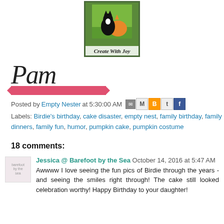[Figure (logo): Create With Joy blog logo with two cats on green background and text 'Create With Joy']
[Figure (illustration): Signature of 'Pam' in cursive script with a pink/red ribbon decoration underneath]
Posted by Empty Nester at 5:30:00 AM
Labels: Birdie's birthday, cake disaster, empty nest, family birthday, family dinners, family fun, humor, pumpkin cake, pumpkin costume
18 comments:
Jessica @ Barefoot by the Sea October 14, 2016 at 5:47 AM
Awwww I love seeing the fun pics of Birdie through the years - and seeing the smiles right through! The cake still looked celebration worthy! Happy Birthday to your daughter!